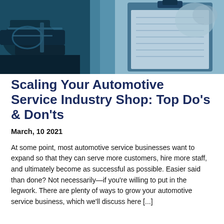[Figure (photo): Close-up photo of automotive engine components and a clipboard with papers, tinted in blue tones, suggesting automotive service industry context.]
Scaling Your Automotive Service Industry Shop: Top Do's & Don'ts
March, 10 2021
At some point, most automotive service businesses want to expand so that they can serve more customers, hire more staff, and ultimately become as successful as possible. Easier said than done? Not necessarily—if you're willing to put in the legwork. There are plenty of ways to grow your automotive service business, which we'll discuss here [...]